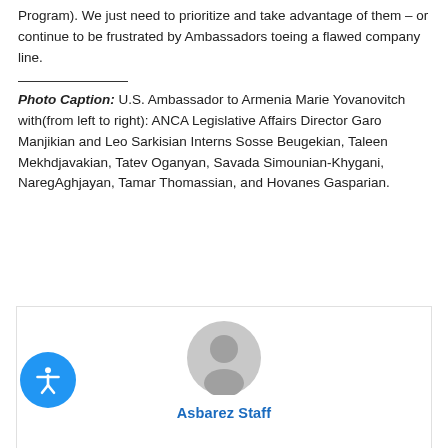Program). We just need to prioritize and take advantage of them – or continue to be frustrated by Ambassadors toeing a flawed company line.
Photo Caption: U.S. Ambassador to Armenia Marie Yovanovitch with(from left to right): ANCA Legislative Affairs Director Garo Manjikian and Leo Sarkisian Interns Sosse Beugekian, Taleen Mekhdjavakian, Tatev Oganyan, Savada Simounian-Khygani, NaregAghjayan, Tamar Thomassian, and Hovanes Gasparian.
[Figure (illustration): Generic user/author avatar icon (gray circular silhouette) inside an author card box]
Asbarez Staff